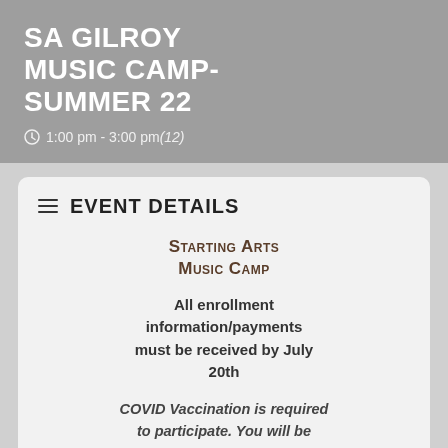SA GILROY MUSIC CAMP- SUMMER 22
1:00 pm - 3:00 pm (12)
EVENT DETAILS
Starting Arts Music Camp
All enrollment information/payments must be received by July 20th
COVID Vaccination is required to participate. You will be asked to submit proof of vaccination before the first day.